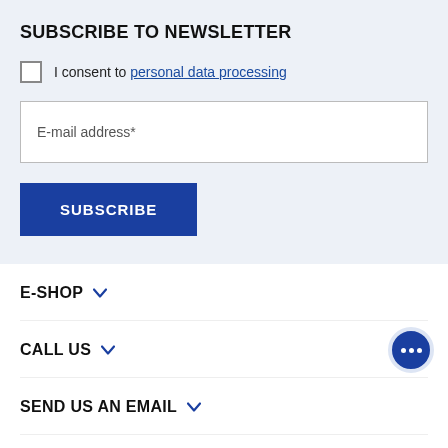SUBSCRIBE TO NEWSLETTER
I consent to personal data processing
E-mail address*
SUBSCRIBE
E-SHOP
CALL US
SEND US AN EMAIL
CORPORATE SALES DEPARTMENT